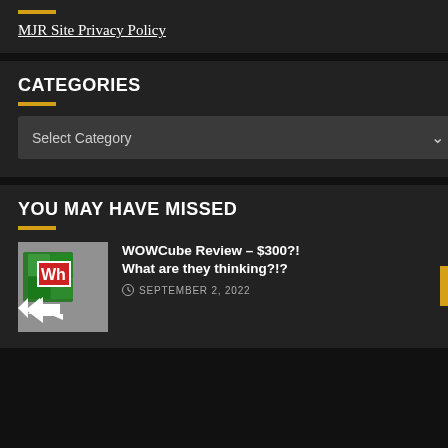MJR Site Privacy Policy
CATEGORIES
Select Category
YOU MAY HAVE MISSED
[Figure (photo): Thumbnail image of a WOWCube device (green cube-like gadget) with 'Wh' text overlay and a white arrow pointing left, on a magazine background]
WOWCube Review – $300?! What are they thinking?!?
SEPTEMBER 2, 2022